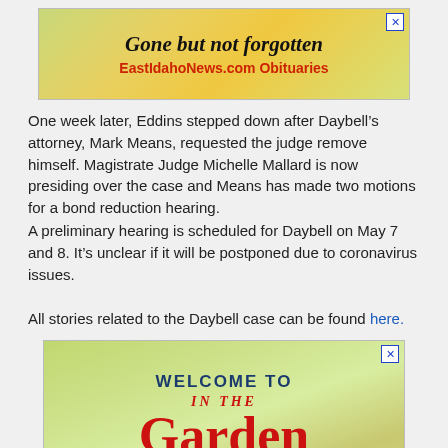[Figure (illustration): Advertisement banner: 'Gone but not forgotten' with flowers, EastIdahoNews.com Obituaries in red]
One week later, Eddins stepped down after Daybell’s attorney, Mark Means, requested the judge remove himself. Magistrate Judge Michelle Mallard is now presiding over the case and Means has made two motions for a bond reduction hearing.
A preliminary hearing is scheduled for Daybell on May 7 and 8. It’s unclear if it will be postponed due to coronavirus issues.
All stories related to the Daybell case can be found here.
[Figure (illustration): Advertisement banner: 'WELCOME TO In The Garden' in large red text on a green/garden background, with 'Brought to you by' at bottom]